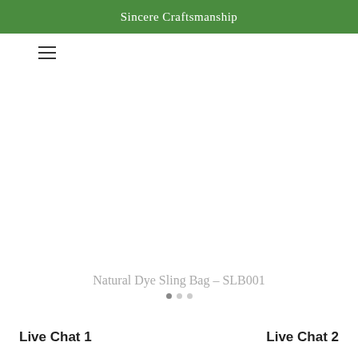Sincere Craftsmanship
[Figure (other): Hamburger menu icon (three horizontal lines)]
Natural Dye Sling Bag – SLB001
Live Chat 1   Live Chat 2